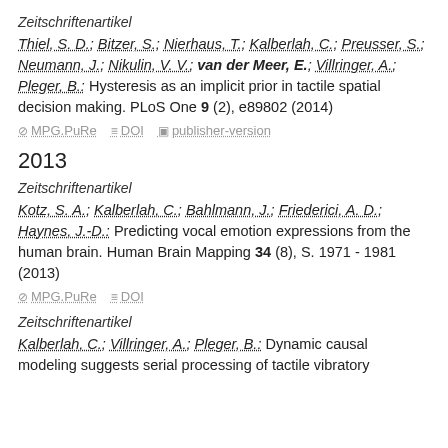Zeitschriftenartikel
Thiel, S. D.; Bitzer, S.; Nierhaus, T.; Kalberlah, C.; Preusser, S.; Neumann, J.; Nikulin, V. V.; van der Meer, E.; Villringer, A.; Pleger, B.: Hysteresis as an implicit prior in tactile spatial decision making. PLoS One 9 (2), e89802 (2014)
MPG.PuRe  DOI  publisher-version
2013
Zeitschriftenartikel
Kotz, S. A.; Kalberlah, C.; Bahlmann, J.; Friederici, A. D.; Haynes, J.-D.: Predicting vocal emotion expressions from the human brain. Human Brain Mapping 34 (8), S. 1971 - 1981 (2013)
MPG.PuRe  DOI
Zeitschriftenartikel
Kalberlah, C.; Villringer, A.; Pleger, B.: Dynamic causal modeling suggests serial processing of tactile vibratory...